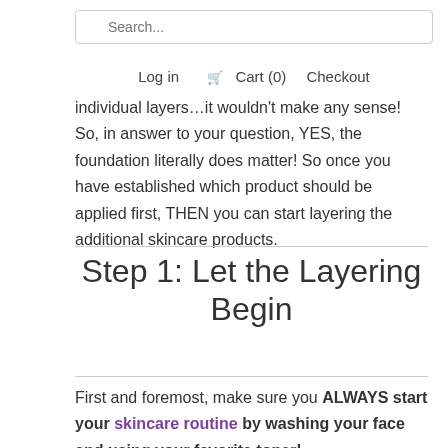Search... Log in Cart (0) Checkout
individual layers…it wouldn't make any sense! So, in answer to your question, YES, the foundation literally does matter! So once you have established which product should be applied first, THEN you can start layering the additional skincare products.
Step 1: Let the Layering Begin
First and foremost, make sure you ALWAYS start your skincare routine by washing your face and using your favorite toner!